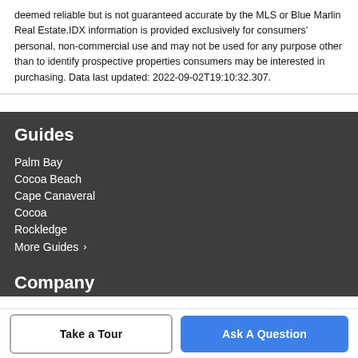deemed reliable but is not guaranteed accurate by the MLS or Blue Marlin Real Estate.IDX information is provided exclusively for consumers' personal, non-commercial use and may not be used for any purpose other than to identify prospective properties consumers may be interested in purchasing. Data last updated: 2022-09-02T19:10:32.307.
Guides
Palm Bay
Cocoa Beach
Cape Canaveral
Cocoa
Rockledge
More Guides >
Company